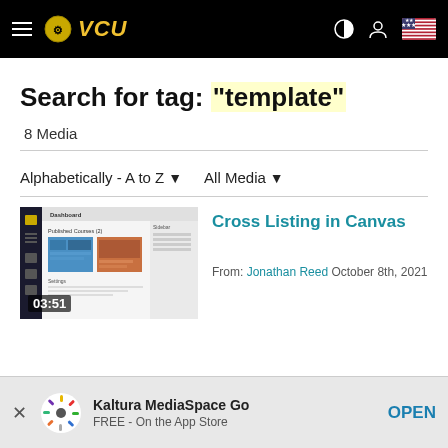VCU navigation bar with hamburger menu, VCU logo, contrast toggle, user icon, and US flag
Search for tag: "template"
8 Media
Alphabetically - A to Z ▾   All Media ▾
[Figure (screenshot): Thumbnail screenshot of Canvas dashboard showing Published Courses with duration 03:51]
Cross Listing in Canvas
From: Jonathan Reed October 8th, 2021
Kaltura MediaSpace Go
FREE - On the App Store
OPEN